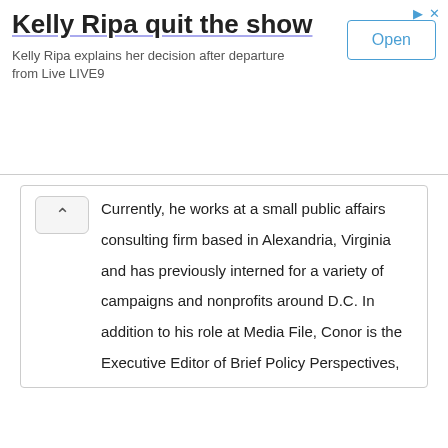[Figure (screenshot): Advertisement banner: 'Kelly Ripa quit the show' with subtitle 'Kelly Ripa explains her decision after departure from Live LIVE9' and an 'Open' button]
Currently, he works at a small public affairs consulting firm based in Alexandria, Virginia and has previously interned for a variety of campaigns and nonprofits around D.C. In addition to his role at Media File, Conor is the Executive Editor of Brief Policy Perspectives, a student-run blog that offers original analysis and opinion on forthcoming policy issues. He likes cats, craft beer, and cold weather. Follow him on Twitter @C_McGrath.